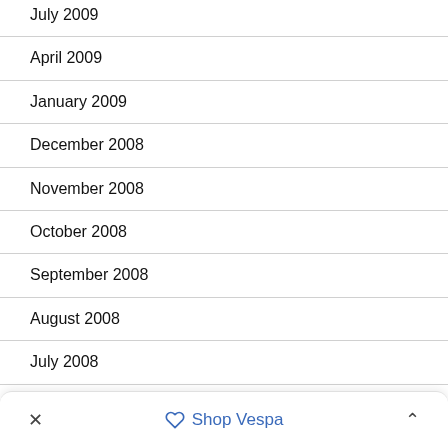July 2009
April 2009
January 2009
December 2008
November 2008
October 2008
September 2008
August 2008
July 2008
May 2008
✕   Shop Vespa   ∧